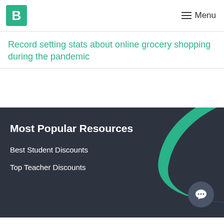B  Menu
Record setting stats about online grocery shopping during the pandemic
Most Popular Resources
Best Student Discounts
Top Teacher Discounts